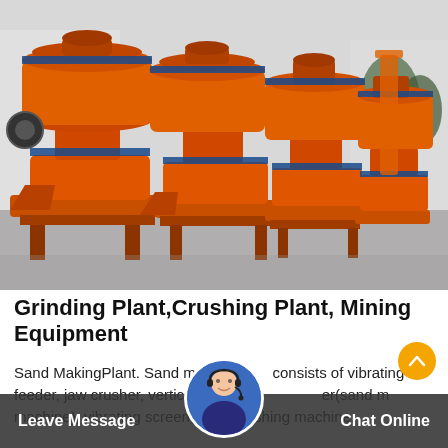[Figure (photo): Row of multiple large orange industrial grinding/crushing machines (Raymond mills) lined up outdoors in a factory yard, photographed from a low angle perspective. Machines are bright orange with blue accent rings, set against a light sky background with industrial buildings visible.]
Grinding Plant,Crushing Plant, Mining Equipment
Sand MakingPlant. Sand making plant consists of vibrating feeder, jaw crusher, vertical shaft impact crusher(sand making machine), vibrating screen, sand washing machine.
Leave Message
Chat Online